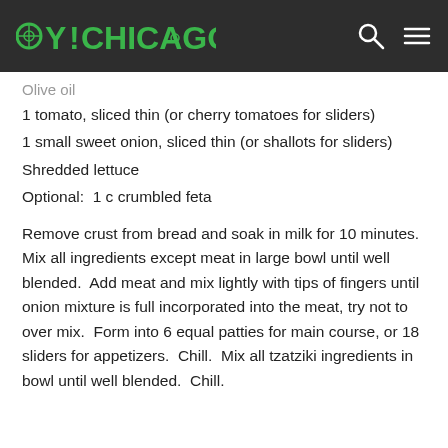OY!CHICAGO
Olive oil
1 tomato, sliced thin (or cherry tomatoes for sliders)
1 small sweet onion, sliced thin (or shallots for sliders)
Shredded lettuce
Optional:  1 c crumbled feta
Remove crust from bread and soak in milk for 10 minutes.  Mix all ingredients except meat in large bowl until well blended.  Add meat and mix lightly with tips of fingers until onion mixture is full incorporated into the meat, try not to over mix.  Form into 6 equal patties for main course, or 18 sliders for appetizers.  Chill.  Mix all tzatziki ingredients in bowl until well blended.  Chill.